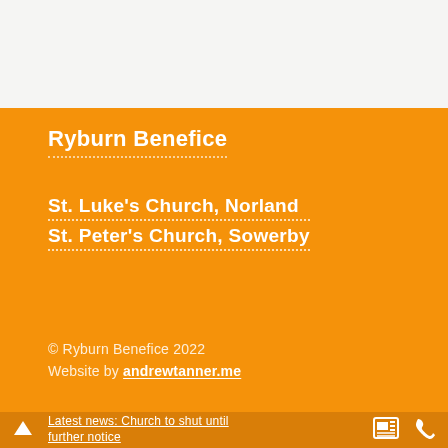Ryburn Benefice
St. Luke's Church, Norland
St. Peter's Church, Sowerby
© Ryburn Benefice 2022
Website by andrewtanner.me
Latest news: Church to shut until further notice